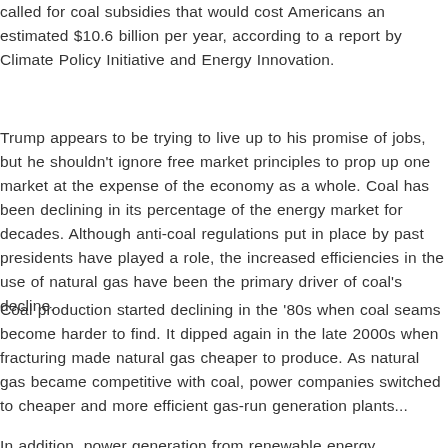called for coal subsidies that would cost Americans an estimated $10.6 billion per year, according to a report by Climate Policy Initiative and Energy Innovation.
Trump appears to be trying to live up to his promise of jobs, but he shouldn't ignore free market principles to prop up one market at the expense of the economy as a whole. Coal has been declining in its percentage of the energy market for decades. Although anti-coal regulations put in place by past presidents have played a role, the increased efficiencies in the use of natural gas have been the primary driver of coal's decline.
Coal production started declining in the '80s when coal seams become harder to find. It dipped again in the late 2000s when fracturing made natural gas cheaper to produce. As natural gas became competitive with coal, power companies switched to cheaper and more efficient gas-run generation p...
In addition, power generation from renewable en... increase by 169% by 2040, while coal, as a perc... could decrease by 51%. Bloomberg New Energy ... number of reasons, solar has even become chea... countries, and as the Guardian reported, even...